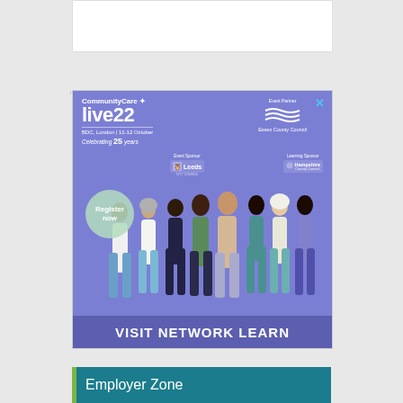[Figure (illustration): CommunityCare live22 advertisement banner. Purple/blue background with illustrated diverse group of people. Text: CommunityCare live22, BDC, London | 11-12 October, Celebrating 25 years, Register now, VISIT NETWORK LEARN. Sponsors: Essex County Council (Event Partner), Leeds (Event Sponsor), Hampshire County Council (Learning Sponsor). Close button X in top right.]
Employer Zone
Making flexible working work